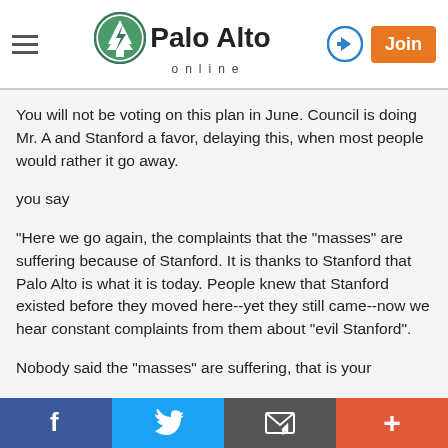Palo Alto Online
You will not be voting on this plan in June. Council is doing Mr. A and Stanford a favor, delaying this, when most people would rather it go away.
you say
"Here we go again, the complaints that the "masses" are suffering because of Stanford. It is thanks to Stanford that Palo Alto is what it is today. People knew that Stanford existed before they moved here--yet they still came--now we hear constant complaints from them about "evil Stanford".
Nobody said the "masses" are suffering, that is your